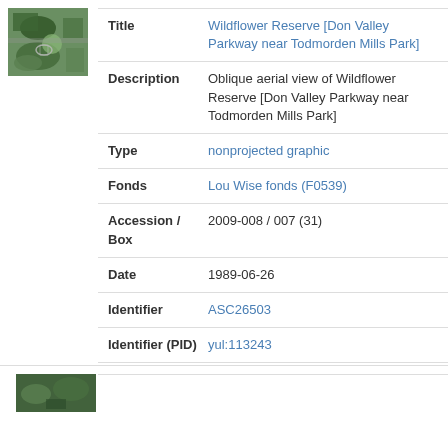[Figure (photo): Aerial thumbnail photo of Wildflower Reserve near Don Valley Parkway]
| Field | Value |
| --- | --- |
| Title | Wildflower Reserve [Don Valley Parkway near Todmorden Mills Park] |
| Description | Oblique aerial view of Wildflower Reserve [Don Valley Parkway near Todmorden Mills Park] |
| Type | nonprojected graphic |
| Fonds | Lou Wise fonds (F0539) |
| Accession / Box | 2009-008 / 007 (31) |
| Date | 1989-06-26 |
| Identifier | ASC26503 |
| Identifier (PID) | yul:113243 |
[Figure (photo): Second aerial thumbnail photo at bottom of page]